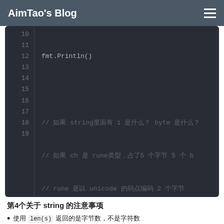AimTao's Blog
[Figure (screenshot): Code editor screenshot showing Go language code, lines 10-19, with syntax highlighting on dark background. Line 10: fmt.Println(). Lines 12-14: comments about string, rune, byte, and unicode. Line 15: for i, ch := range s {. Line 16: fmt.Printf("(%d, %X)  ", i, c. Line 17: }. Line 18: fmt.Println(). Line 19: }.]
第4个关于 string 的注意事项
使用 len(s) 返回的是字节数，不是字符数
直接对 string 进行遍历 rune类型 rune 的处理
使用 utf8.RuneCountInString(string)